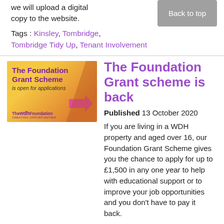we will upload a digital copy to the website.
Tags : Kinsley, Tombridge, Tombridge Tidy Up, Tenant Involvement
The Foundation Grant scheme is back
[Figure (illustration): The WDH Foundation banner: yellow/orange gradient background with purple bold text 'The Foundation Grant Scheme is open for applications' and an arrow graphic, with The wdh Foundation logo at bottom left.]
Published 13 October 2020
If you are living in a WDH property and aged over 16, our Foundation Grant Scheme gives you the chance to apply for up to £1,500 in any one year to help with educational support or to improve your job opportunities and you don't have to pay it back.
Tags : Foundation Grant, Kinsley, Tombridge, Tombridge Tidy Up